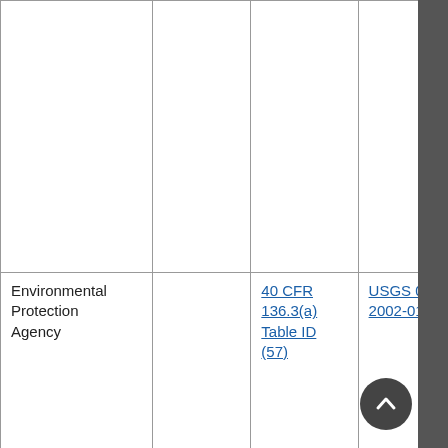|  |  |  |  |
| Environmental Protection Agency |  | 40 CFR 136.3(a) Table ID (57) | USGS 0-2002-01 |
| Environmental Protection Agency |  | 40 CFR 136.3(a) Table ID | USGS 0-200-01 |